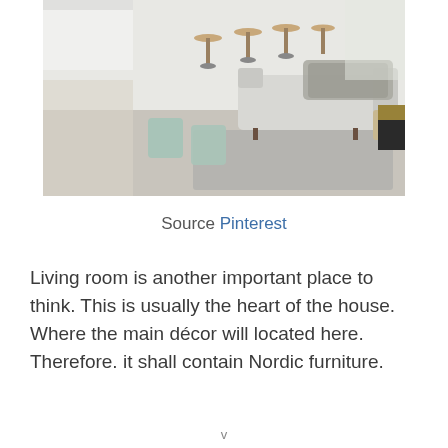[Figure (photo): Nordic-style living room interior with light wood bar stools, a grey sofa with fur throw, mint green chairs, grey area rug, and wooden furniture accents]
Source Pinterest
Living room is another important place to think. This is usually the heart of the house. Where the main décor will located here. Therefore. it shall contain Nordic furniture.
v